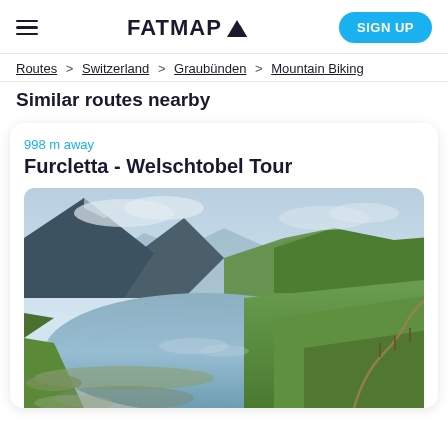FATMAP  [logo]  SIGN UP
Routes > Switzerland > Graubünden > Mountain Biking
Similar routes nearby
998 m away
Furcletta - Welschtobel Tour
[Figure (photo): Alpine mountain lake reflecting cloudy sky, surrounded by green meadows and mountains in the background. A dirt trail winds along the shore.]